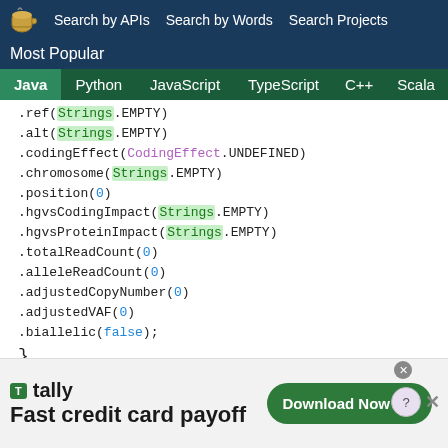Search by APIs   Search by Words   Search Projects
Most Popular
Java   Python   JavaScript   TypeScript   C++   Scala
.ref(Strings.EMPTY)
.alt(Strings.EMPTY)
.codingEffect(CodingEffect.UNDEFINED)
.chromosome(Strings.EMPTY)
.position(0)
.hgvsCodingImpact(Strings.EMPTY)
.hgvsProteinImpact(Strings.EMPTY)
.totalReadCount(0)
.alleleReadCount(0)
.adjustedCopyNumber(0)
.adjustedVAF(0)
.biallelic(false);
}
[Figure (screenshot): Advertisement banner for Tally: Fast credit card payoff with Download Now button]